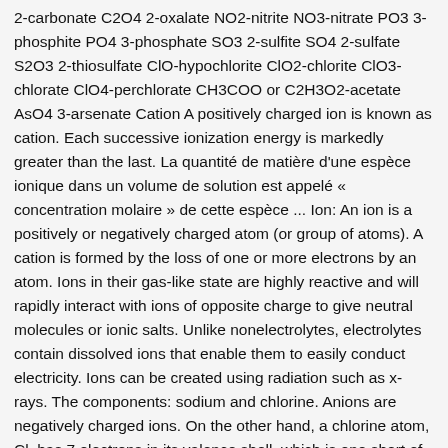2-carbonate C2O4 2-oxalate NO2-nitrite NO3-nitrate PO3 3-phosphite PO4 3-phosphate SO3 2-sulfite SO4 2-sulfate S2O3 2-thiosulfate ClO-hypochlorite ClO2-chlorite ClO3-chlorate ClO4-perchlorate CH3COO or C2H3O2-acetate AsO4 3-arsenate Cation A positively charged ion is known as cation. Each successive ionization energy is markedly greater than the last. La quantité de matière d'une espèce ionique dans un volume de solution est appelé « concentration molaire » de cette espèce ... Ion: An ion is a positively or negatively charged atom (or group of atoms). A cation is formed by the loss of one or more electrons by an atom. Ions in their gas-like state are highly reactive and will rapidly interact with ions of opposite charge to give neutral molecules or ionic salts. Unlike nonelectrolytes, electrolytes contain dissolved ions that enable them to easily conduct electricity. Ions can be created using radiation such as x-rays. The components: sodium and chlorine. Anions are negatively charged ions. On the other hand, a chlorine atom, Cl, has 7 electrons in its valence shell, which is one short of the stable, filled shell with 8